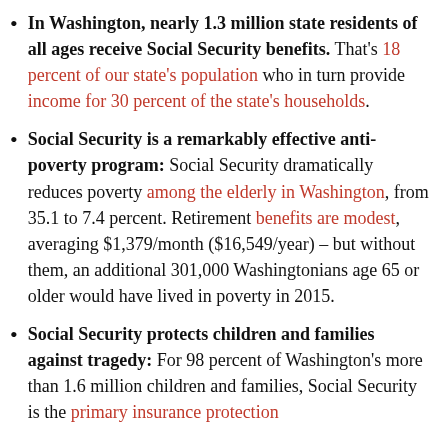In Washington, nearly 1.3 million state residents of all ages receive Social Security benefits. That's 18 percent of our state's population who in turn provide income for 30 percent of the state's households.
Social Security is a remarkably effective anti-poverty program: Social Security dramatically reduces poverty among the elderly in Washington, from 35.1 to 7.4 percent. Retirement benefits are modest, averaging $1,379/month ($16,549/year) – but without them, an additional 301,000 Washingtonians age 65 or older would have lived in poverty in 2015.
Social Security protects children and families against tragedy: For 98 percent of Washington's more than 1.6 million children and families, Social Security is the primary insurance protection